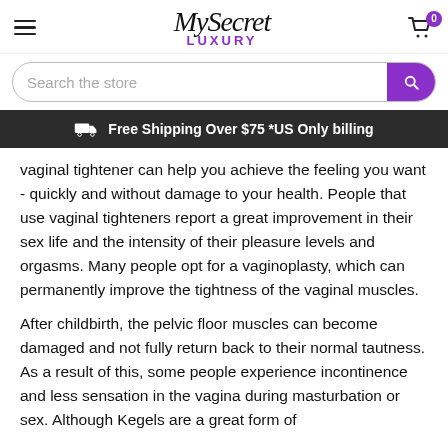MySecret LUXURY — hamburger menu, logo, cart (0)
[Figure (screenshot): Search bar with purple search button and placeholder text 'Search the store']
🚚 Free Shipping Over $75 *US Only billing
vaginal tightener can help you achieve the feeling you want - quickly and without damage to your health. People that use vaginal tighteners report a great improvement in their sex life and the intensity of their pleasure levels and orgasms. Many people opt for a vaginoplasty, which can permanently improve the tightness of the vaginal muscles.
After childbirth, the pelvic floor muscles can become damaged and not fully return back to their normal tautness. As a result of this, some people experience incontinence and less sensation in the vagina during masturbation or sex. Although Kegels are a great form of